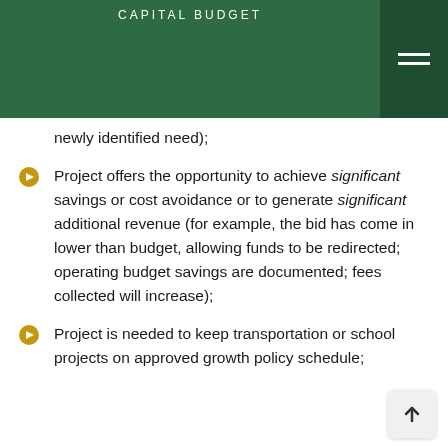CAPITAL BUDGET
newly identified need);
Project offers the opportunity to achieve significant savings or cost avoidance or to generate significant additional revenue (for example, the bid has come in lower than budget, allowing funds to be redirected; operating budget savings are documented; fees collected will increase);
Project is needed to keep transportation or school projects on approved growth policy schedule;